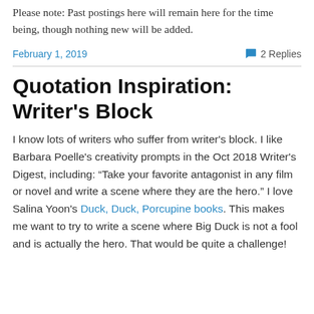Please note: Past postings here will remain here for the time being, though nothing new will be added.
February 1, 2019    2 Replies
Quotation Inspiration: Writer's Block
I know lots of writers who suffer from writer's block. I like Barbara Poelle's creativity prompts in the Oct 2018 Writer's Digest, including: “Take your favorite antagonist in any film or novel and write a scene where they are the hero.” I love Salina Yoon's Duck, Duck, Porcupine books. This makes me want to try to write a scene where Big Duck is not a fool and is actually the hero. That would be quite a challenge!